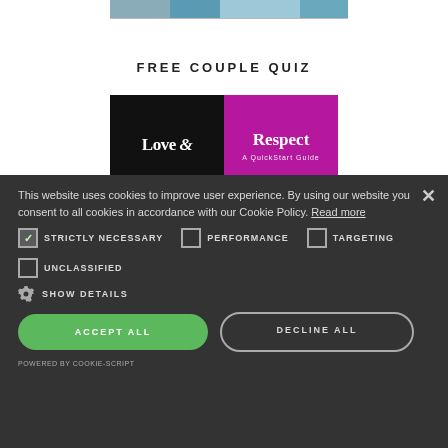[Figure (photo): Partial top banner image showing a landscape or group photo strip]
FREE COUPLE QUIZ
[Figure (illustration): Love & Respect – A QuickStart Guide logo with black left half and magenta right half]
This website uses cookies to improve user experience. By using our website you consent to all cookies in accordance with our Cookie Policy. Read more
STRICTLY NECESSARY (checked)
PERFORMANCE (unchecked)
TARGETING (unchecked)
UNCLASSIFIED (unchecked)
SHOW DETAILS
ACCEPT ALL
DECLINE ALL
POWERED BY COOKIE-SCRIPT